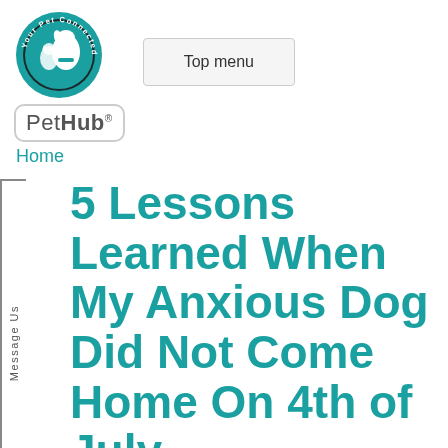[Figure (logo): PetHub logo — circular teal badge with text 'Your Pet Connected' around the perimeter, a dog and cat illustration in the center, and a rectangular 'PetHub®' badge below]
Top menu
Home
5 Lessons Learned When My Anxious Dog Did Not Come Home On 4th of July